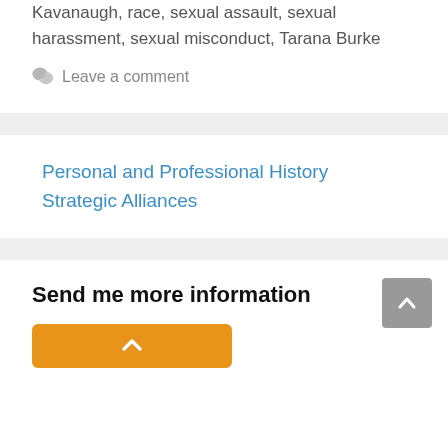Kavanaugh, race, sexual assault, sexual harassment, sexual misconduct, Tarana Burke
Leave a comment
Personal and Professional History
Strategic Alliances
Send me more information